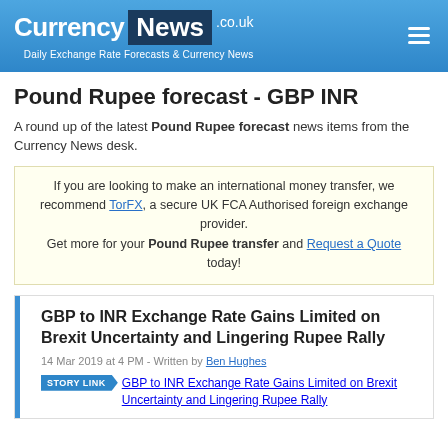Currency News .co.uk — Daily Exchange Rate Forecasts & Currency News
Pound Rupee forecast - GBP INR
A round up of the latest Pound Rupee forecast news items from the Currency News desk.
If you are looking to make an international money transfer, we recommend TorFX, a secure UK FCA Authorised foreign exchange provider. Get more for your Pound Rupee transfer and Request a Quote today!
GBP to INR Exchange Rate Gains Limited on Brexit Uncertainty and Lingering Rupee Rally
14 Mar 2019 at 4 PM - Written by Ben Hughes
STORY LINK  GBP to INR Exchange Rate Gains Limited on Brexit Uncertainty and Lingering Rupee Rally